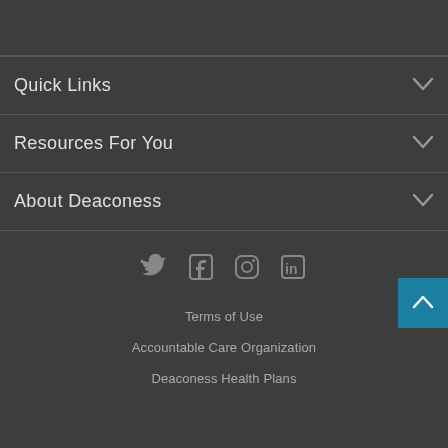Quick Links
Resources For You
About Deaconess
[Figure (infographic): Social media icons: Twitter, Facebook, Instagram, LinkedIn]
Terms of Use
Accountable Care Organization
Deaconess Health Plans